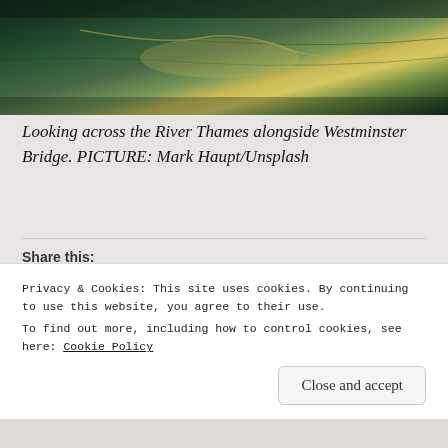[Figure (photo): Aerial or close-up view of the River Thames water surface with light reflecting, dark green water with golden/yellow sunlight reflections]
Looking across the River Thames alongside Westminster Bridge. PICTURE: Mark Haupt/Unsplash
Share this:
Loading...
Privacy & Cookies: This site uses cookies. By continuing to use this website, you agree to their use. To find out more, including how to control cookies, see here: Cookie Policy
Close and accept